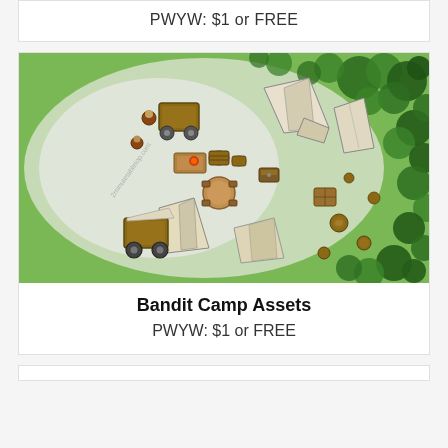PWYW: $1 or FREE
[Figure (illustration): Top-down illustrated map of a bandit camp with tents, wagons, barrels, and camp furniture arranged in a clearing surrounded by green forest trees on the right side, fading to white/gray on the left.]
Bandit Camp Assets
PWYW: $1 or FREE